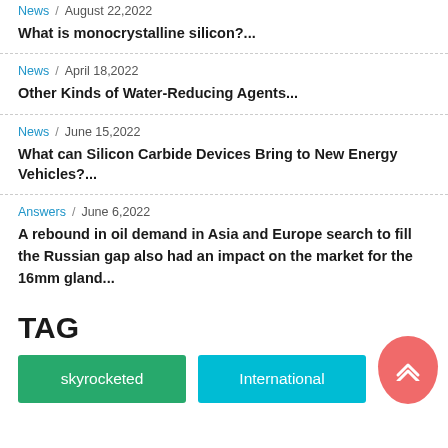News / August 22, 2022 — What is monocrystalline silicon?...
News / April 18,2022 — Other Kinds of Water-Reducing Agents...
News / June 15,2022 — What can Silicon Carbide Devices Bring to New Energy Vehicles?...
Answers / June 6,2022 — A rebound in oil demand in Asia and Europe search to fill the Russian gap also had an impact on the market for the 16mm gland...
TAG
skyrocketed   International